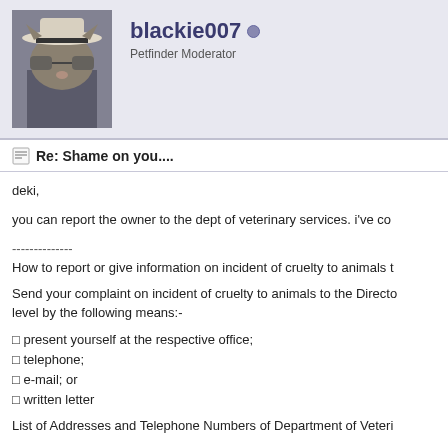[Figure (photo): Profile avatar image of a cat wearing a hat and sunglasses]
blackie007
Petfinder Moderator
Re: Shame on you....
deki,
you can report the owner to the dept of veterinary services. i've co
--------------
How to report or give information on incident of cruelty to animals t
Send your complaint on incident of cruelty to animals to the Directo level by the following means:-
present yourself at the respective office;
telephone;
e-mail; or
written letter
List of Addresses and Telephone Numbers of Department of Veteri
http://www.moa.gov.my/jph/dvs/enforc...l-cruelty.html
http://www.moa.gov.my/jph/indexnew.html
Amongst others, the Department lists these information on its offic